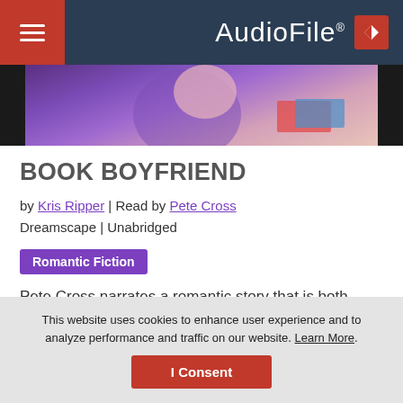AudioFile
[Figure (illustration): Illustrated banner showing a person in a purple shirt with books, stylized comic art style]
BOOK BOYFRIEND
by Kris Ripper | Read by Pete Cross
Dreamscape | Unabridged
Romantic Fiction
Pete Cross narrates a romantic story that is both funny and touching. PK Harrington has been in love with his best friend, Art, ever since they shared one somewhat drunk kiss in college. But he's never told Art how he feels. So when Art shows up at PK's
This website uses cookies to enhance user experience and to analyze performance and traffic on our website. Learn More.
I Consent